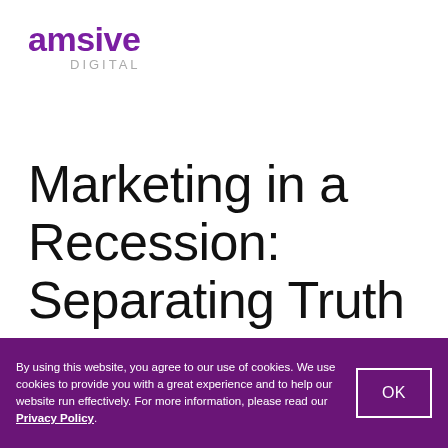amsive DIGITAL
Marketing in a Recession: Separating Truth from Emotion to Overcome the Covid-19 Economic Downturn
By using this website, you agree to our use of cookies. We use cookies to provide you with a great experience and to help our website run effectively. For more information, please read our Privacy Policy.